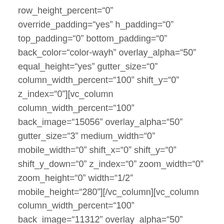row_height_percent="0" override_padding="yes" h_padding="0" top_padding="0" bottom_padding="0" back_color="color-wayh" overlay_alpha="50" equal_height="yes" gutter_size="0" column_width_percent="100" shift_y="0" z_index="0"][vc_column column_width_percent="100" back_image="15056" overlay_alpha="50" gutter_size="3" medium_width="0" mobile_width="0" shift_x="0" shift_y="0" shift_y_down="0" z_index="0" zoom_width="0" zoom_height="0" width="1/2" mobile_height="280"][/vc_column][vc_column column_width_percent="100" back_image="11312" overlay_alpha="50"